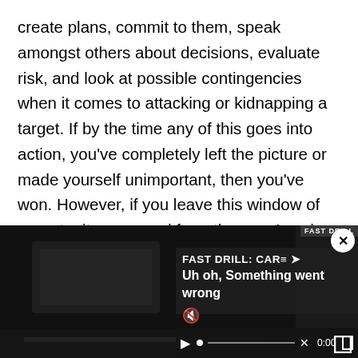create plans, commit to them, speak amongst others about decisions, evaluate risk, and look at possible contingencies when it comes to attacking or kidnapping a target. If by the time any of this goes into action, you've completely left the picture or made yourself unimportant, then you've won. However, if you leave this window of opportunity open and free, then you've given the enemy an accomplishment.
[Figure (screenshot): A dark video player screenshot showing a video titled 'FAST DRILL: CAR...' with an error message overlay reading 'Uh oh, Something went wrong', a mute icon, play button, progress bar with an X mark, 0:00 timestamp, and fullscreen button. A white close (x) button appears in the top right corner.]